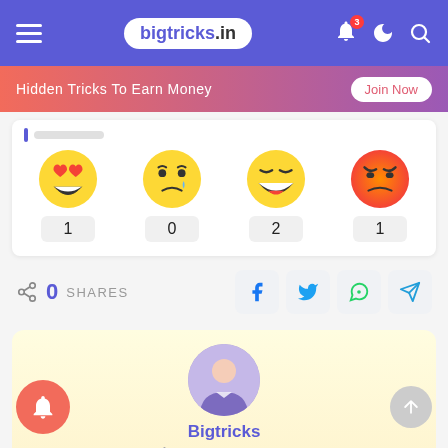bigtricks.in
[Figure (screenshot): Navigation bar with hamburger menu, bigtricks.in logo, bell notification with badge 3, moon icon, and search icon]
[Figure (infographic): Banner: Hidden Tricks To Earn Money with Join Now button]
[Figure (infographic): Reaction counts row: heart-eyes emoji (1), crying emoji (0), laughing emoji (2), angry emoji (1)]
0 SHARES
[Figure (infographic): Social share buttons: Facebook, Twitter, WhatsApp, Telegram]
[Figure (infographic): Author card with avatar for Bigtricks, View More Posts]
Bigtricks
View More Posts